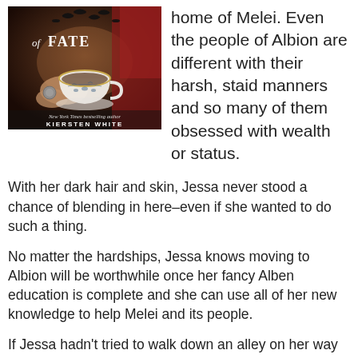[Figure (illustration): Book cover of 'of FATE' by New York Times bestselling author KIERSTEN WHITE. Shows hands holding a decorative teacup with birds flying above, dark atmospheric background.]
home of Melei. Even the people of Albion are different with their harsh, staid manners and so many of them obsessed with wealth or status.
With her dark hair and skin, Jessa never stood a chance of blending in here–even if she wanted to do such a thing.
No matter the hardships, Jessa knows moving to Albion will be worthwhile once her fancy Alben education is complete and she can use all of her new knowledge to help Melei and its people.
If Jessa hadn't tried to walk down an alley on her way